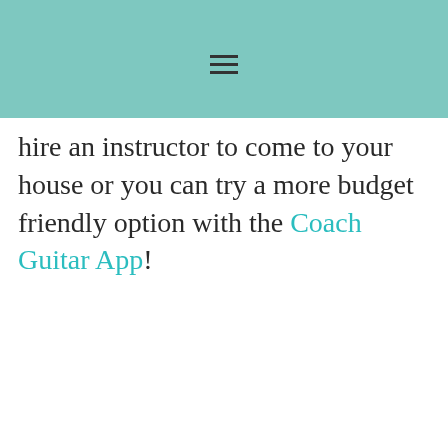[menu icon]
hire an instructor to come to your house or you can try a more budget friendly option with the Coach Guitar App!